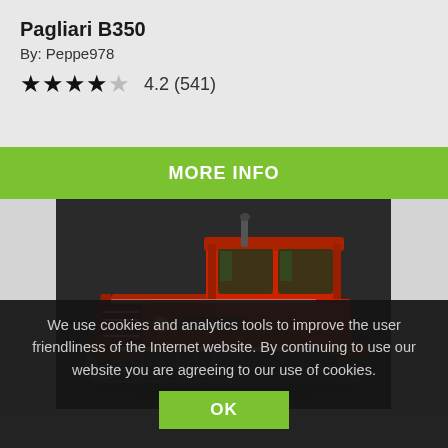Pagliari B350
By: Peppe978
★★★★☆ 4.2 (541)
MORE INFO
[Figure (photo): 3D render of a red Pagliari B350 crawler tractor with tracks, cab, and grille, shown on a dark background]
We use cookies and analytics tools to improve the user friendliness of the Internet website. By continuing to use our website you are agreeing to our use of cookies.
OK